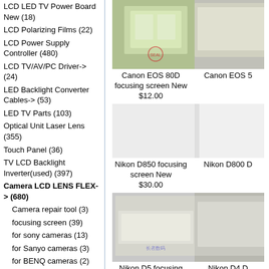LCD LED TV Power Board New (18)
LCD Polarizing Films (22)
LCD Power Supply Controller (480)
LCD TV/AV/PC Driver-> (24)
LED Backlight Converter Cables-> (53)
LED TV Parts (103)
Optical Unit Laser Lens (355)
Touch Panel (36)
TV LCD Backlight Inverter(used) (397)
Camera LCD LENS FLEX-> (680)
Camera repair tool (3)
focusing screen (39)
for sony cameras (13)
for Sanyo cameras (3)
for BENQ cameras (2)
for OLYMPUS cameras (14)
for Canon cameras (11)
Kodak lcd lens (2)
for NIKON cameras (11)
[Figure (photo): Canon EOS 80D focusing screen product photo]
Canon EOS 80D focusing screen New
$12.00
[Figure (photo): Canon EOS 5 focusing screen product photo (partially visible)]
[Figure (photo): Nikon D850 focusing screen product photo]
Nikon D850 focusing screen New
$30.00
[Figure (photo): Nikon D800 product photo (partially visible)]
[Figure (photo): Nikon D5 focusing screen product photo]
Nikon D5 focusing screen New
$30.00
[Figure (photo): Nikon D4 product photo (partially visible)]